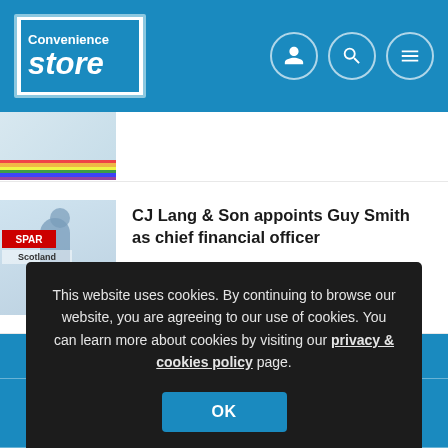Convenience Store
[Figure (photo): Partially visible article thumbnail showing a rainbow flag/banner]
[Figure (photo): Man in blue shirt standing in front of SPAR Scotland signage]
CJ Lang & Son appoints Guy Smith as chief financial officer
This website uses cookies. By continuing to browse our website, you are agreeing to our use of cookies. You can learn more about cookies by visiting our privacy & cookies policy page.
OK